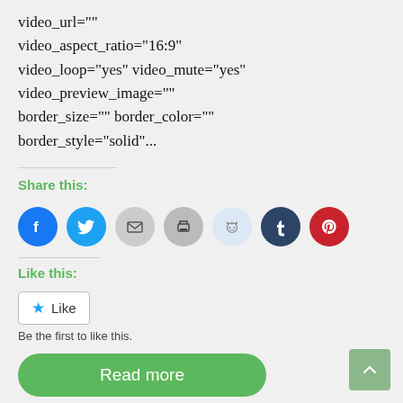video_url=""
video_aspect_ratio="16:9"
video_loop="yes" video_mute="yes"
video_preview_image=""
border_size="" border_color=""
border_style="solid"...
Share this:
[Figure (infographic): Row of social media share buttons: Facebook (blue circle), Twitter (blue circle), Email (grey circle), Print (grey circle), Reddit (light blue circle), Tumblr (dark blue circle), Pinterest (red circle)]
Like this:
Like
Be the first to like this.
Read more